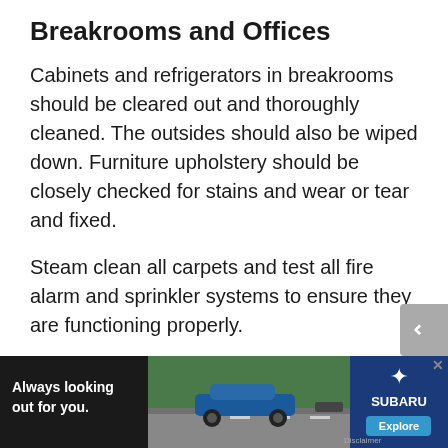Breakrooms and Offices
Cabinets and refrigerators in breakrooms should be cleared out and thoroughly cleaned. The outsides should also be wiped down. Furniture upholstery should be closely checked for stains and wear or tear and fixed.
Steam clean all carpets and test all fire alarm and sprinkler systems to ensure they are functioning properly.
Exteriors
Mo...
[Figure (photo): Subaru advertisement banner: 'Always looking out for you.' with image of a blue Subaru car on a road, Subaru logo and Explore button on the right side.]